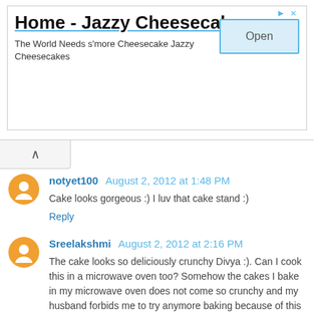[Figure (infographic): Advertisement banner for 'Home - Jazzy Cheesecakes' with title, subtitle 'The World Needs s'more Cheesecake Jazzy Cheesecakes', and an Open button]
^ (collapse/up arrow tab)
notyet100  August 2, 2012 at 1:48 PM
Cake looks gorgeous :) I luv that cake stand :)
Reply
Sreelakshmi  August 2, 2012 at 2:16 PM
The cake looks so deliciously crunchy Divya :). Can I cook this in a microwave oven too? Somehow the cakes I bake in my microwave oven does not come so crunchy and my husband forbids me to try anymore baking because of this :(
Reply